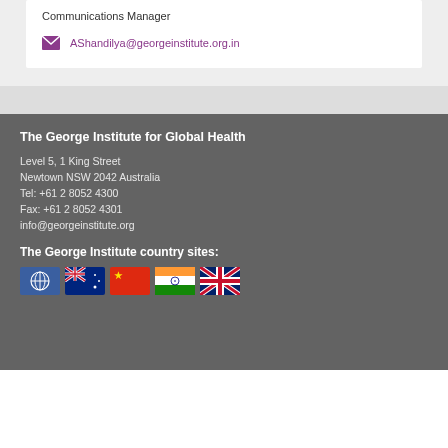Communications Manager
AShandilya@georgeinstitute.org.in
The George Institute for Global Health
Level 5, 1 King Street
Newtown NSW 2042 Australia
Tel: +61 2 8052 4300
Fax: +61 2 8052 4301
info@georgeinstitute.org
The George Institute country sites:
[Figure (illustration): Row of country flag icons: global/international, Australia, China, India, United Kingdom]